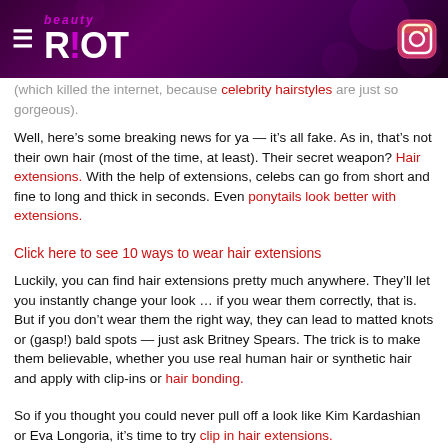beauty RIOT [logo with Instagram icon]
(which killed the internet, because celebrity hairstyles are just so gorgeous).
Well, here’s some breaking news for ya — it’s all fake. As in, that’s not their own hair (most of the time, at least). Their secret weapon? Hair extensions. With the help of extensions, celebs can go from short and fine to long and thick in seconds. Even ponytails look better with extensions.
Click here to see 10 ways to wear hair extensions
Luckily, you can find hair extensions pretty much anywhere. They’ll let you instantly change your look … if you wear them correctly, that is. But if you don’t wear them the right way, they can lead to matted knots or (gasp!) bald spots — just ask Britney Spears. The trick is to make them believable, whether you use real human hair or synthetic hair and apply with clip-ins or hair bonding.
So if you thought you could never pull off a look like Kim Kardashian or Eva Longoria, it’s time to try clip in hair extensions.